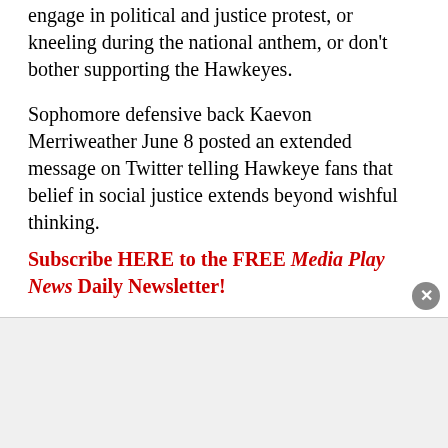engage in political and justice protest, or kneeling during the national anthem, or don't bother supporting the Hawkeyes.
Sophomore defensive back Kaevon Merriweather June 8 posted an extended message on Twitter telling Hawkeye fans that belief in social justice extends beyond wishful thinking.
Subscribe HERE to the FREE Media Play News Daily Newsletter!
“If you can not support us right now with this movement and with our team taking a knee during the national anthem, DO NOT support us during the football season,” Merriweather tweeted. “DO NOT watch our games on TV, DO NOT come up to us